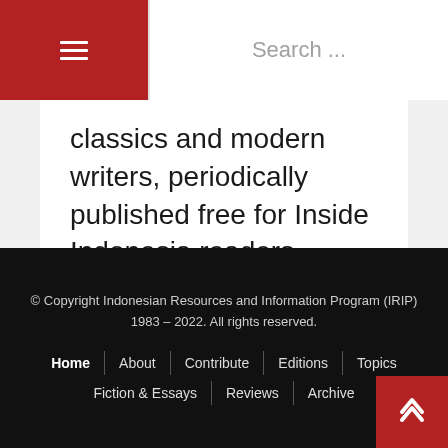≡  Search ...
classics and modern writers, periodically published free for Inside Indonesia readers, courtesy of Lontar
© Copyright Indonesian Resources and Information Program (IRIP) 1983 – 2022. All rights reserved.
Home | About | Contribute | Editions | Topics
Fiction & Essays | Reviews | Archive